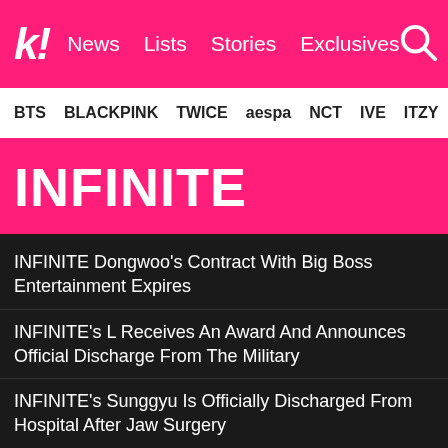k! News Lists Stories Exclusives
BTS BLACKPINK TWICE aespa NCT IVE ITZY
INFINITE
INFINITE Dongwoo's Contract With Big Boss Entertainment Expires
INFINITE's L Receives An Award And Announces Official Discharge From The Military
INFINITE's Sunggyu Is Officially Discharged From Hospital After Jaw Surgery
INFINITE's Sungjong Opens Official Social Media Accounts Announcing A New Start
See more INFINITE